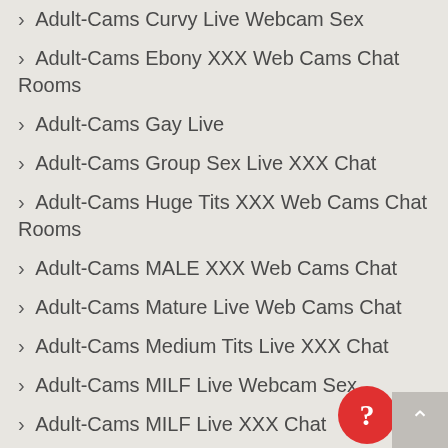Adult-Cams Curvy Live Webcam Sex
Adult-Cams Ebony XXX Web Cams Chat Rooms
Adult-Cams Gay Live
Adult-Cams Group Sex Live XXX Chat
Adult-Cams Huge Tits XXX Web Cams Chat Rooms
Adult-Cams MALE XXX Web Cams Chat
Adult-Cams Mature Live Web Cams Chat
Adult-Cams Medium Tits Live XXX Chat
Adult-Cams MILF Live Webcam Sex
Adult-Cams MILF Live XXX Chat
Adult-Cams Muscle Guys Hot Videos
Adult-Cams Muscle Live XXX Chat R…
Adult-Cams Petite Body Live XXX Ch…oom